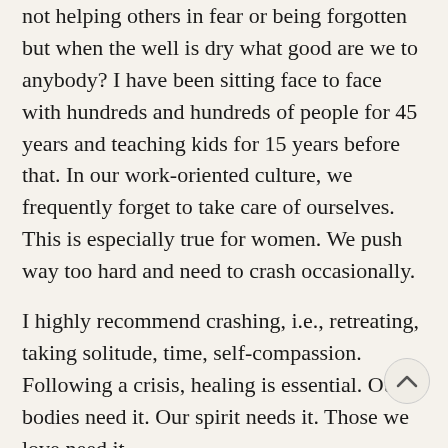not helping others in fear or being forgotten but when the well is dry what good are we to anybody? I have been sitting face to face with hundreds and hundreds of people for 45 years and teaching kids for 15 years before that. In our work-oriented culture, we frequently forget to take care of ourselves. This is especially true for women. We push way too hard and need to crash occasionally.
I highly recommend crashing, i.e., retreating, taking solitude, time, self-compassion. Following a crisis, healing is essential. Our bodies need it. Our spirit needs it. Those we love need it.
Mary Friedel-Hunt MA LCSW is a clinical social worker, thanotologist and certified bereavement counselor. She can be reached at mfriedelhunt@chartermt; P.O. Box 1936